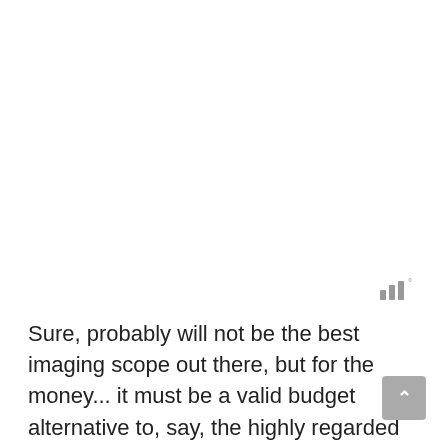[Figure (other): Small grey icon resembling sound/signal bars with a degree symbol, positioned in upper-right area of lower half of page]
Sure, probably will not be the best imaging scope out there, but for the money... it must be a valid budget alternative to, say, the highly regarded but costly William Optics RedCat.